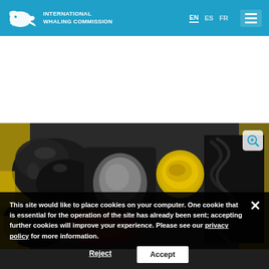INTERNATIONAL WHALING COMMISSION — EN | ES | FR
[Figure (photo): Packages and containers of whale meat and products, including black plastic bags, a round yellow container, brown/red meat pieces, and dark coiled material, displayed on a yellow surface.]
This site would like to place cookies on your computer. One cookie that is essential for the operation of the site has already been sent; accepting further cookies will improve your experience. Please see our privacy policy for more information.
Reject  Accept